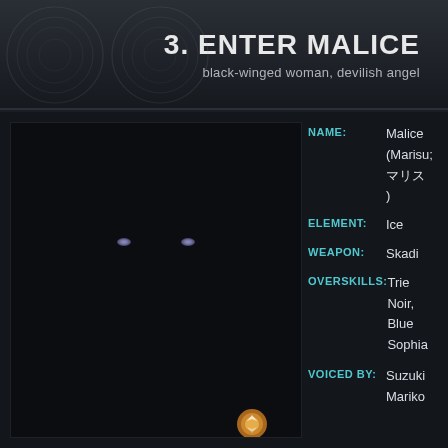3. ENTER MALICE
black-winged woman, devilish angel
[Figure (illustration): Dark game character screen showing a near-black scene with faint glowing eyes (purple-blue) visible in upper portion, and a small circular icon at bottom right. Dark panel background with subtle border.]
NAME: Malice (Marisu; マリス)
ELEMENT: Ice
WEAPON: Skadi
OVERSKILLS: Trie Noir, Blue Sophia
VOICED BY: Suzuki Mariko